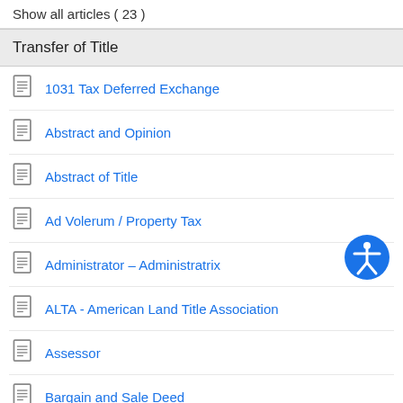Show all articles ( 23 )
Transfer of Title
1031 Tax Deferred Exchange
Abstract and Opinion
Abstract of Title
Ad Volerum / Property Tax
Administrator – Administratrix
ALTA - American Land Title Association
Assessor
Bargain and Sale Deed
Board of Equalization
Capital Gain
Capital Gains Exchange